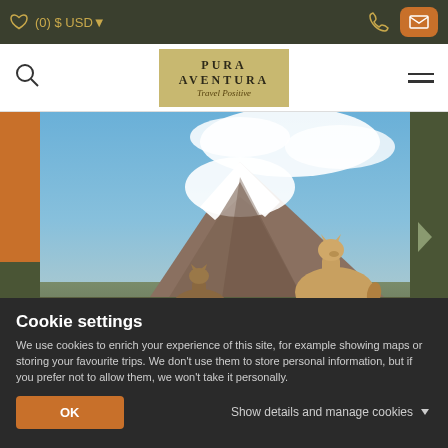(0) $ USD
[Figure (logo): Pura Aventura Travel Positive logo on golden background]
[Figure (photo): Two llamas or vicunas grazing in front of a large snow-capped volcano (Chimborazo) under a blue sky with clouds]
Cookie settings
We use cookies to enrich your experience of this site, for example showing maps or storing your favourite trips. We don't use them to store personal information, but if you prefer not to allow them, we won't take it personally.
OK
Show details and manage cookies